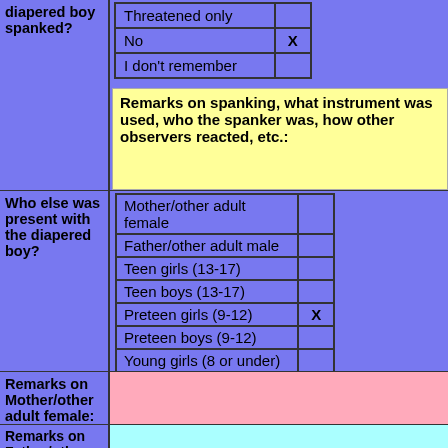| Threatened only |  |
| No | X |
| I don't remember |  |
Remarks on spanking, what instrument was used, who the spanker was, how other observers reacted, etc.:
Who else was present with the diapered boy?
| Mother/other adult female |  |
| Father/other adult male |  |
| Teen girls (13-17) |  |
| Teen boys (13-17) |  |
| Preteen girls (9-12) | X |
| Preteen boys (9-12) |  |
| Young girls (8 or under) |  |
| Young boys (8 or under) |  |
Remarks on Mother/other adult female:
Remarks on Father/other